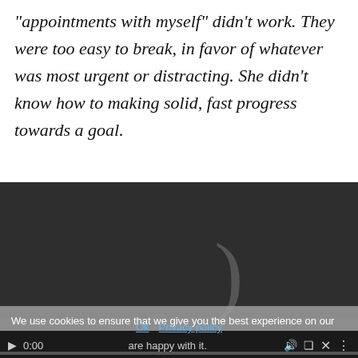“appointments with myself” didn’t work. They were too easy to break, in favor of whatever was most urgent or distracting. She didn’t know how to making solid, fast progress towards a goal.
[Figure (screenshot): Video player with dark background showing a partial parenthesis character, with a cookie consent banner overlay, playback controls bar showing 0:00, and a privacy policy link.]